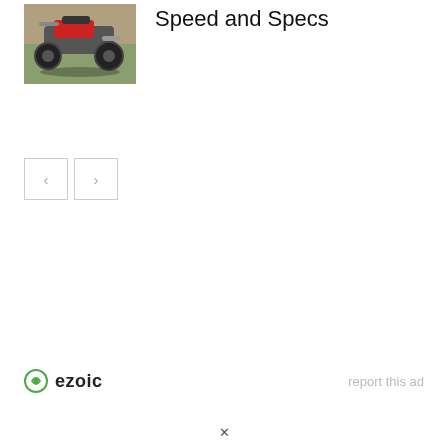[Figure (photo): ATV quad bike on dirt/grass terrain, red and gray colored]
Speed and Specs
[Figure (other): Navigation buttons: left arrow and right arrow]
[Figure (logo): Ezoic logo with green circular icon and bold text 'ezoic']
report this ad